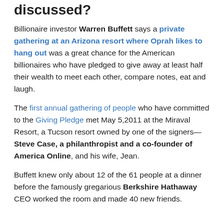discussed?
Billionaire investor Warren Buffett says a private gathering at an Arizona resort where Oprah likes to hang out was a great chance for the American billionaires who have pledged to give away at least half their wealth to meet each other, compare notes, eat and laugh.
The first annual gathering of people who have committed to the Giving Pledge met May 5,2011 at the Miraval Resort, a Tucson resort owned by one of the signers—Steve Case, a philanthropist and a co-founder of America Online, and his wife, Jean.
Buffett knew only about 12 of the 61 people at a dinner before the famously gregarious Berkshire Hathaway CEO worked the room and made 40 new friends.